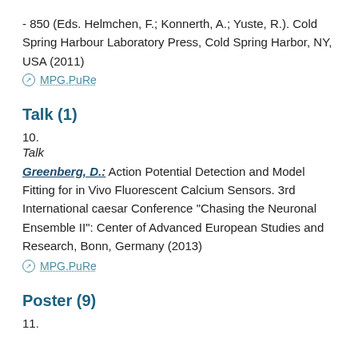- 850 (Eds. Helmchen, F.; Konnerth, A.; Yuste, R.). Cold Spring Harbour Laboratory Press, Cold Spring Harbor, NY, USA (2011)
⊘ MPG.PuRe
Talk (1)
10.
Talk
Greenberg, D.: Action Potential Detection and Model Fitting for in Vivo Fluorescent Calcium Sensors. 3rd International caesar Conference "Chasing the Neuronal Ensemble II": Center of Advanced European Studies and Research, Bonn, Germany (2013)
⊘ MPG.PuRe
Poster (9)
11.